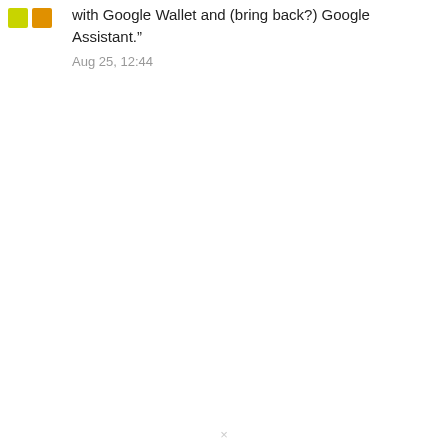[Figure (illustration): Two small colored square avatar icons (yellow-green and orange) representing a user profile]
with Google Wallet and (bring back?) Google Assistant.”
Aug 25, 12:44
×